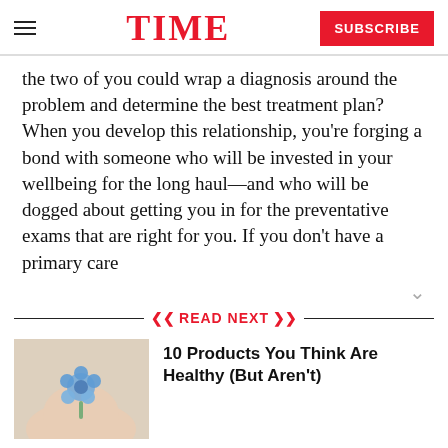TIME  SUBSCRIBE
the two of you could wrap a diagnosis around the problem and determine the best treatment plan? When you develop this relationship, you're forging a bond with someone who will be invested in your wellbeing for the long haul—and who will be dogged about getting you in for the preventative exams that are right for you. If you don't have a primary care
READ NEXT
10 Products You Think Are Healthy (But Aren't)
[Figure (photo): Hand holding a blue flower against a light background]